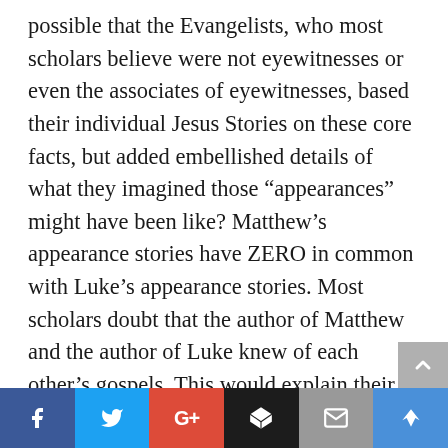possible that the Evangelists, who most scholars believe were not eyewitnesses or even the associates of eyewitnesses, based their individual Jesus Stories on these core facts, but added embellished details of what they imagined those “appearances” might have been like? Matthew’s appearance stories have ZERO in common with Luke’s appearance stories. Most scholars doubt that the author of Matthew and the author of Luke knew of each other’s gospels. This would explain their very different appearance stories, Luke’s in Jerusalem and the surrounding area and Matthew’s only in Galilee. The Gospel of John was written a couple of decades later. If the